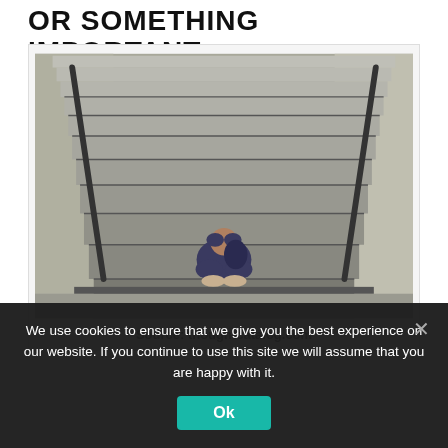OR SOMETHING IMPORTANT
[Figure (photo): A person sitting curled up on concrete stairs with their head down, in a stairwell with metal railings. Black and white/desaturated photo.]
Source: thoughtcatalog.com
We use cookies to ensure that we give you the best experience on our website. If you continue to use this site we will assume that you are happy with it.